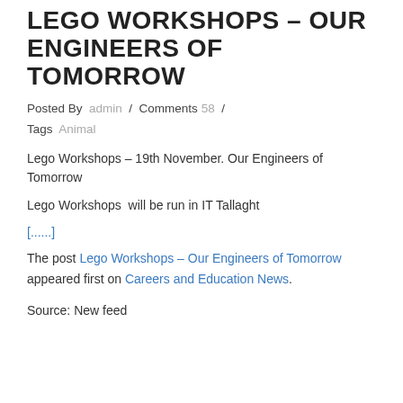LEGO WORKSHOPS – OUR ENGINEERS OF TOMORROW
Posted By admin / Comments 58 / Tags Animal
Lego Workshops – 19th November. Our Engineers of Tomorrow
Lego Workshops  will be run in IT Tallaght
[......]
The post Lego Workshops – Our Engineers of Tomorrow appeared first on Careers and Education News.
Source: New feed